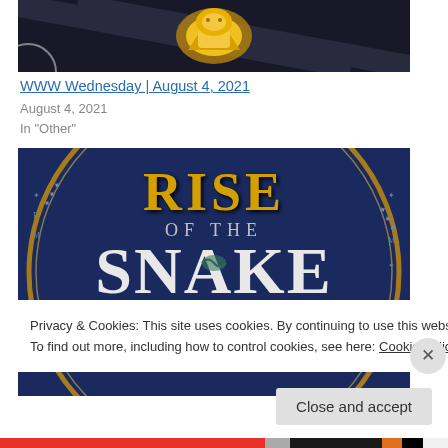[Figure (photo): Dark background image with golden ornament/figure at top, partially cropped]
WWW Wednesday | August 4, 2021
August 4, 2021
In "Other"
[Figure (photo): Book cover of 'Rise of the Snake Goddess' with gold lettering on dark blue textured background with circular border design]
Privacy & Cookies: This site uses cookies. By continuing to use this website, you agree to their use.
To find out more, including how to control cookies, see here: Cookie Policy